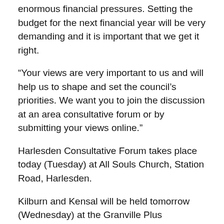enormous financial pressures. Setting the budget for the next financial year will be very demanding and it is important that we get it right.
“Your views are very important to us and will help us to shape and set the council’s priorities. We want you to join the discussion at an area consultative forum or by submitting your views online.”
Harlesden Consultative Forum takes place today (Tuesday) at All Souls Church, Station Road, Harlesden.
Kilburn and Kensal will be held tomorrow (Wednesday) at the Granville Plus Community Centre in Granville Road, Kilburn,
Wembley is at Patidar House in London Road, Wembley, on January 17.
Willesden will take place at College of North West